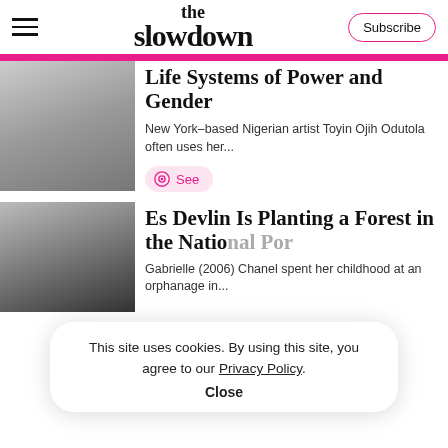the slowdown
Life Systems of Power and Gender
New York–based Nigerian artist Toyin Ojih Odutola often uses her...
See
Es Devlin Is Planting a Forest in the National Portrait...
Gabrielle (2006) Chanel spent her childhood at an orphanage in...
This site uses cookies. By using this site, you agree to our Privacy Policy. Close